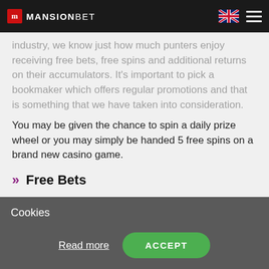MansionBet
industry, we know just how much punters enjoy receiving free bets, free spins and additional returns on their accumulators. It's important to pick a bookmaker which offers regular promotions and that is something that we have taken into consideration.
You may be given the chance to spin a daily prize wheel or you may simply be handed 5 free spins on a brand new casino game.
Free Bets
Cookies
Read more
ACCEPT